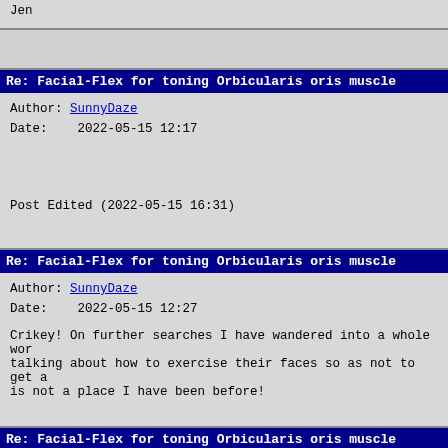Jen
Re: Facial-Flex for toning Orbicularis oris muscle
Author: SunnyDaze
Date:   2022-05-15 12:17

Post Edited (2022-05-15 16:31)
Re: Facial-Flex for toning Orbicularis oris muscle
Author: SunnyDaze
Date:   2022-05-15 12:27

Crikey! On further searches I have wandered into a whole wor talking about how to exercise their faces so as not to get a is not a place I have been before!
Re: Facial-Flex for toning Orbicularis oris muscle